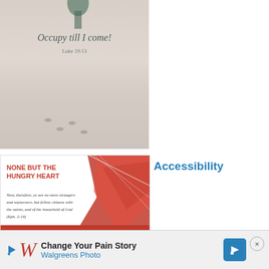[Figure (photo): A sandy/snowy landscape with footprints, overlaid with italic quote text 'Occupy till I come!' and reference 'Luke 19:13']
[Figure (illustration): Religious devotional card with bold red text 'NONE BUT THE HUNGRY HEART', red abstract brush stroke background on right, scripture quote in italic, red bar reading 'AUGUST 31', and caption 'Accessibility']
Accessibility
[Figure (logo): Circle emblem with a detailed green tree illustration and 'JESUS' letters in background watermark]
Root and Stem of David - Perfect MAN Eternal SON (14)
[Figure (infographic): Walgreens advertisement banner with red W logo, 'Change Your Pain Story', 'Walgreens Photo' text, blue navigation arrow icon, and close X button]